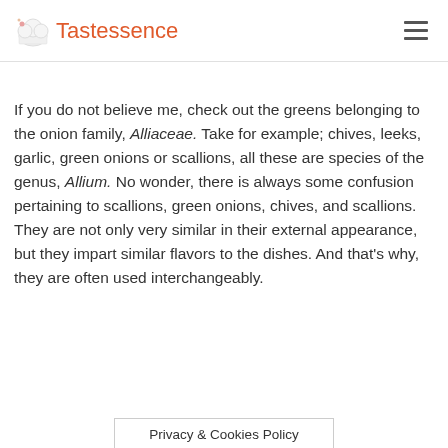Tastessence
If you do not believe me, check out the greens belonging to the onion family, Alliaceae. Take for example; chives, leeks, garlic, green onions or scallions, all these are species of the genus, Allium. No wonder, there is always some confusion pertaining to scallions, green onions, chives, and scallions. They are not only very similar in their external appearance, but they impart similar flavors to the dishes. And that's why, they are often used interchangeably.
Privacy & Cookies Policy